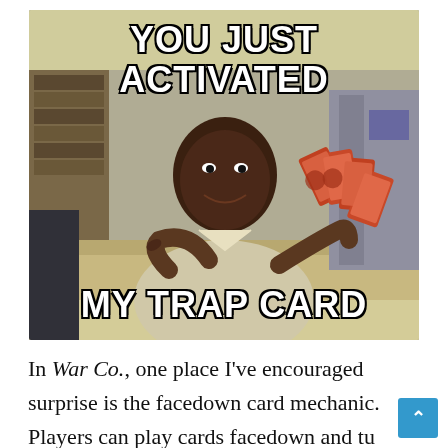[Figure (photo): Internet meme photo of a man in a library holding up Yu-Gi-Oh trading cards with text overlay reading 'YOU JUST ACTIVATED MY TRAP CARD']
In War Co., one place I've encouraged surprise is the facedown card mechanic. Players can play cards facedown and tu